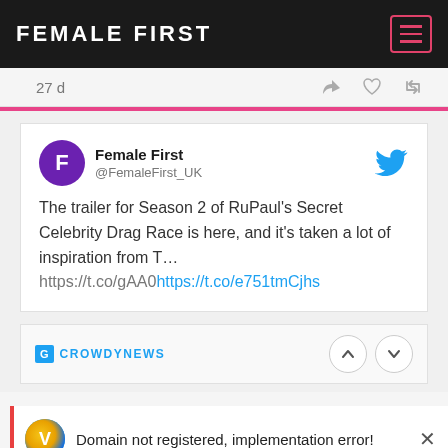FEMALE FIRST
27 d
[Figure (screenshot): Tweet from @FemaleFirst_UK: The trailer for Season 2 of RuPaul's Secret Celebrity Drag Race is here, and it's taken a lot of inspiration from T… https://t.co/gAA0https://t.co/e751tmCjhs]
[Figure (logo): CROWDYNEWS logo with navigation up/down arrow buttons]
Domain not registered, implementation error!